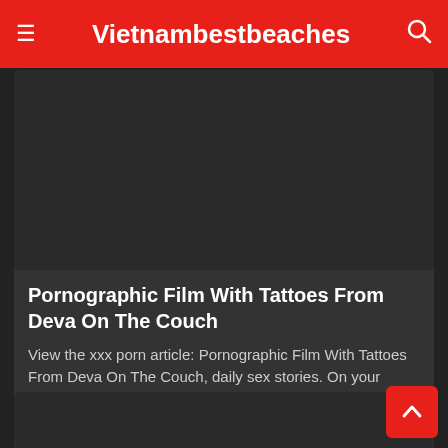Vietnambestbeaches
[Figure (photo): Dark thumbnail image for article card]
Pornographic Film With Tattoes From Deva On The Couch
View the xxx porn article: Pornographic Film With Tattoes From Deva On The Couch, daily sex stories. On your favorite porn news site VIETNAMBESTBEACHES.INFO!
4 Views · Likes 0
[Figure (photo): Dark thumbnail image for second article card]